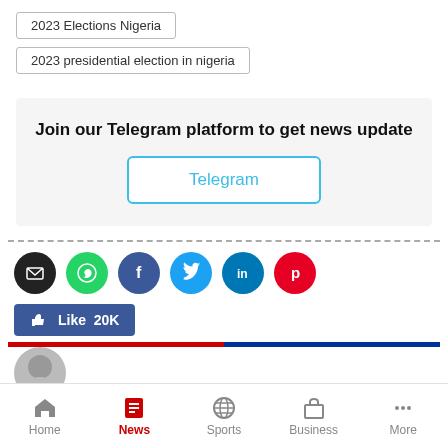2023 Elections Nigeria
2023 presidential election in nigeria
Join our Telegram platform to get news update
Telegram
[Figure (infographic): Social share buttons: email (black), whatsapp (green), facebook (dark blue), twitter (light blue), linkedin (teal), pinterest (red), and a Facebook Like 20K button]
[Figure (photo): Partial avatar/profile image at bottom]
Home | News | Sports | Business | More